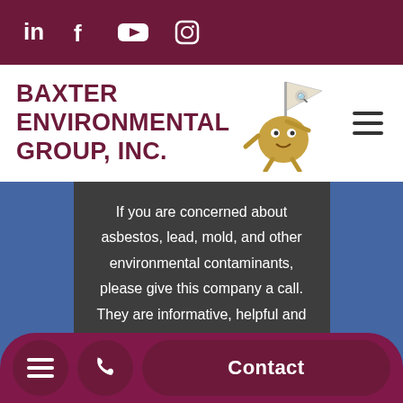Social media icons: LinkedIn, Facebook, YouTube, Instagram
BAXTER ENVIRONMENTAL GROUP, INC.
[Figure (illustration): Cartoon mascot character - a round golden-brown creature wearing a lab coat and holding a magnifying glass]
If you are concerned about asbestos, lead, mold, and other environmental contaminants, please give this company a call. They are informative, helpful and very passionate about t... g c... of renovation or just want to
Menu | Phone | Contact